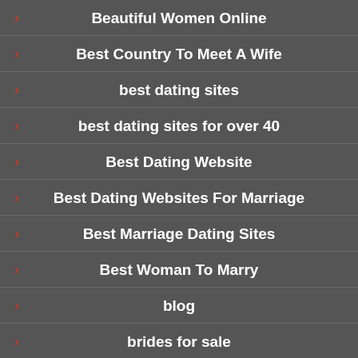Beautiful Women Online
Best Country To Meet A Wife
best dating sites
best dating sites for over 40
Best Dating Website
Best Dating Websites For Marriage
Best Marriage Dating Sites
Best Woman To Marry
blog
brides for sale